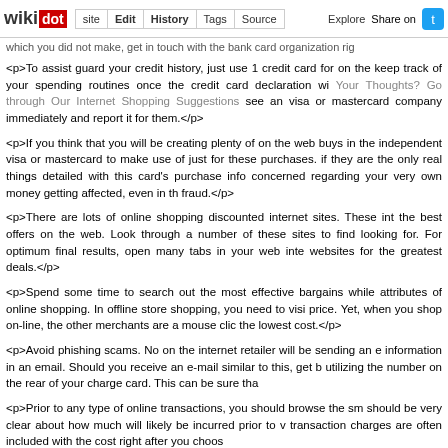wikidot | site | Edit | History | Tags | Source | Explore | Share on Twitter
which you did not make, get in touch with the bank card organization right...
<p>To assist guard your credit history, just use 1 credit card for on the keep track of your spending routines once the credit card declaration wi Your Thoughts? Go through Our Internet Shopping Suggestions see an visa or mastercard company immediately and report it for them.</p>
<p>If you think that you will be creating plenty of on the web buys in the independent visa or mastercard to make use of just for these purchases. if they are the only real things detailed with this card's purchase info concerned regarding your very own money getting affected, even in th fraud.</p>
<p>There are lots of online shopping discounted internet sites. These int the best offers on the web. Look through a number of these sites to find looking for. For optimum final results, open many tabs in your web inte websites for the greatest deals.</p>
<p>Spend some time to search out the most effective bargains while attributes of online shopping. In offline store shopping, you need to visi price. Yet, when you shop on-line, the other merchants are a mouse clic the lowest cost.</p>
<p>Avoid phishing scams. No on the internet retailer will be sending an e information in an email. Should you receive an e-mail similar to this, get b utilizing the number on the rear of your charge card. This can be sure tha</p>
<p>Prior to any type of online transactions, you should browse the sm should be very clear about how much will likely be incurred prior to v transaction charges are often included with the cost right after you choos</p>